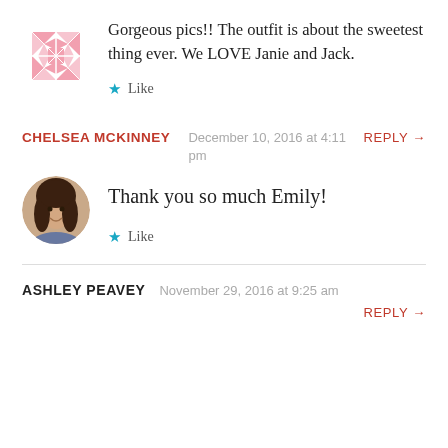Gorgeous pics!! The outfit is about the sweetest thing ever. We LOVE Janie and Jack.
Like
CHELSEA MCKINNEY
December 10, 2016 at 4:11 pm
REPLY →
Thank you so much Emily!
Like
ASHLEY PEAVEY
November 29, 2016 at 9:25 am
REPLY →